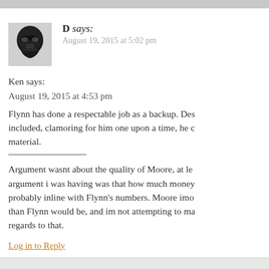D says:
August 19, 2015 at 5:02 pm
Ken says:
August 19, 2015 at 4:53 pm
Flynn has done a respectable job as a backup. Des included, clamoring for him one upon a time, he c material.
Argument wasnt about the quality of Moore, at le argument i was having was that how much money probably inline with Flynn's numbers. Moore imo than Flynn would be, and im not attempting to ma regards to that.
Log in to Reply